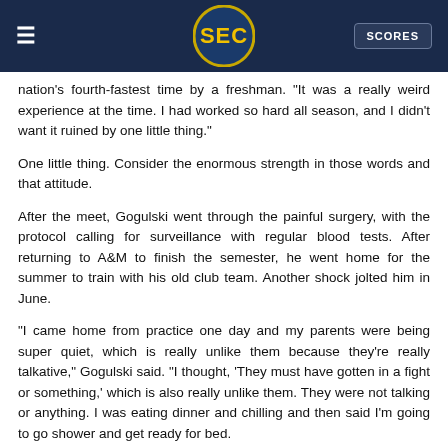SEC — SCORES
nation's fourth-fastest time by a freshman. "It was a really weird experience at the time. I had worked so hard all season, and I didn't want it ruined by one little thing."
One little thing. Consider the enormous strength in those words and that attitude.
After the meet, Gogulski went through the painful surgery, with the protocol calling for surveillance with regular blood tests. After returning to A&M to finish the semester, he went home for the summer to train with his old club team. Another shock jolted him in June.
"I came home from practice one day and my parents were being super quiet, which is really unlike them because they're really talkative," Gogulski said. "I thought, 'They must have gotten in a fight or something,' which is also really unlike them. They were not talking or anything. I was eating dinner and chilling and then said I'm going to go shower and get ready for bed.